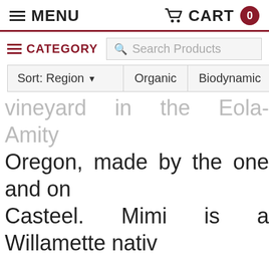MENU | CART 0
CATEGORY | Search Products
Sort: Region | Organic | Biodynamic | L
vineyard in the Eola-Amity Oregon, made by the one and on Casteel. Mimi is a Willamette nativ vineyard child. Her family is beh venerable Bethel Heights Winery. a masters degree in Forest Scie spent years with the Forest Servi botanist, as well as a stint as the